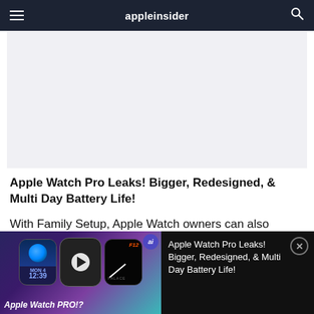appleinsider
[Figure (photo): Light gray placeholder image area for article thumbnail]
Apple Watch Pro Leaks! Bigger, Redesigned, & Multi Day Battery Life!
With Family Setup, Apple Watch owners can also
[Figure (screenshot): Video player bar showing Apple Watch Pro thumbnail with three watch faces, play button, AI badge, and title text 'Apple Watch PRO!?' with associated article title panel]
Apple Watch Pro Leaks! Bigger, Redesigned, & Multi Day Battery Life!